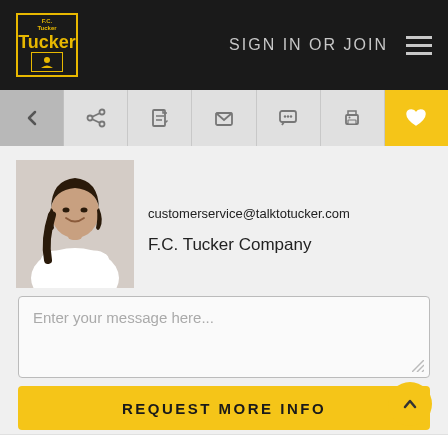F.C. Tucker Company — SIGN IN OR JOIN
[Figure (screenshot): Navigation toolbar with back arrow, share, edit, email, chat, print, and favorite (heart) icons]
[Figure (photo): Real estate agent profile photo — woman in white shirt with arms crossed, smiling]
customerservice@talktotucker.com
F.C. Tucker Company
Enter your message here...
REQUEST MORE INFO
Property Description
This beautiful, sturdy country home is waiting for it's